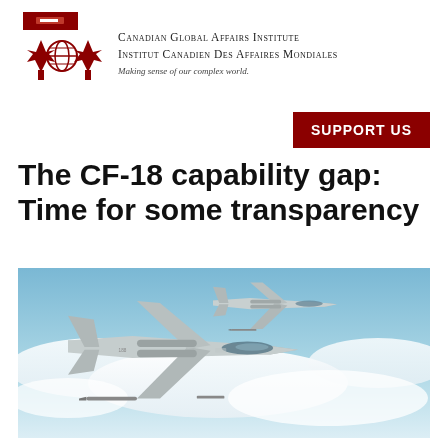[Figure (logo): Canadian Global Affairs Institute logo: red rectangle bar on top, red maple leaf and globe design below]
Canadian Global Affairs Institute
Institut Canadien des Affaires Mondiales
Making sense of our complex world.
SUPPORT US
The CF-18 capability gap: Time for some transparency
[Figure (photo): Two CF-18 fighter jets flying in formation above clouds against a blue sky]